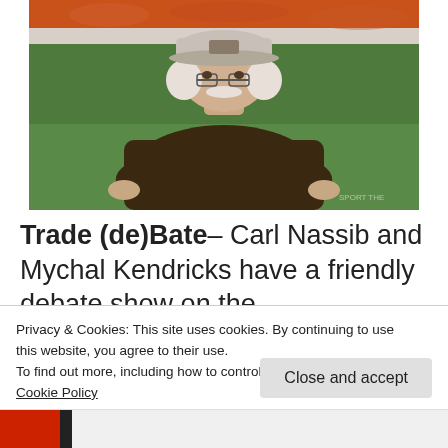[Figure (photo): A heavyset man wearing a brown shirt and white baseball cap, leaning forward on a football field sideline. Orange stadium seats visible in background, green turf in foreground. Blurred background, appears to be a sports event.]
Trade (de)Bate– Carl Nassib and Mychal Kendricks have a friendly debate show on the
Privacy & Cookies: This site uses cookies. By continuing to use this website, you agree to their use.
To find out more, including how to control cookies, see here: Cookie Policy